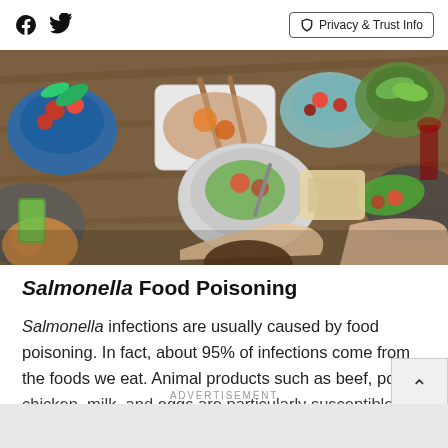Facebook icon | Twitter icon | Privacy & Trust Info
[Figure (photo): Overhead view of a large dining table covered with various dishes of food including salads, roasted vegetables, bread, and tomatoes, with people's hands reaching across to eat.]
Salmonella Food Poisoning
Salmonella infections are usually caused by food poisoning. In fact, about 95% of infections come from the foods we eat. Animal products such as beef, pork, chicken, milk, and eggs are particularly susceptible